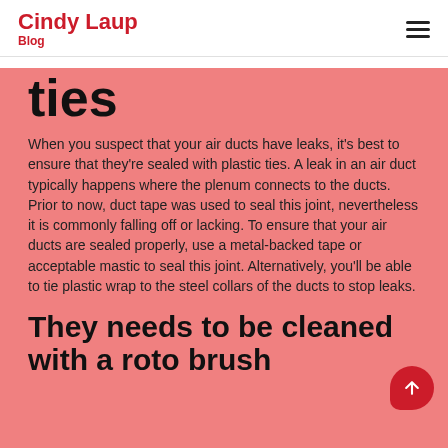Cindy Laup Blog
ties
When you suspect that your air ducts have leaks, it's best to ensure that they're sealed with plastic ties. A leak in an air duct typically happens where the plenum connects to the ducts. Prior to now, duct tape was used to seal this joint, nevertheless it is commonly falling off or lacking. To ensure that your air ducts are sealed properly, use a metal-backed tape or acceptable mastic to seal this joint. Alternatively, you'll be able to tie plastic wrap to the steel collars of the ducts to stop leaks.
They needs to be cleaned with a roto brush